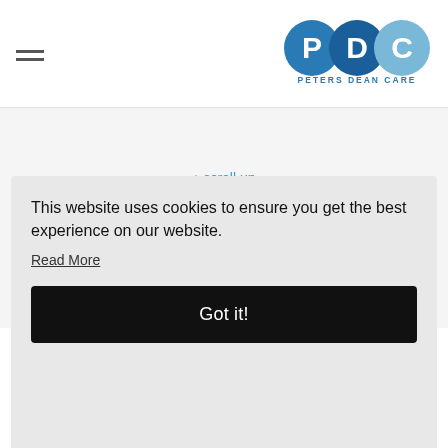[Figure (logo): Peters Dean Care logo — PDC circles in blue with text PETERS DEAN CARE below]
↑ scroll up
Privacy Policy
Covid-19
©2020 by Peters Dean Care. Website by volcanic
[Figure (photo): Man in blue shirt, head and upper torso visible, photo partially obscured by cookie banner]
This website uses cookies to ensure you get the best experience on our website.
Read More
Got it!